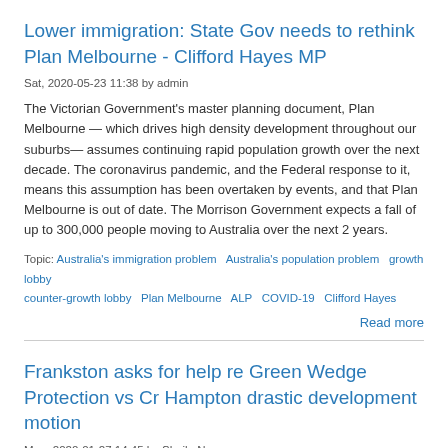Lower immigration: State Gov needs to rethink Plan Melbourne - Clifford Hayes MP
Sat, 2020-05-23 11:38 by admin
The Victorian Government's master planning document, Plan Melbourne — which drives high density development throughout our suburbs— assumes continuing rapid population growth over the next decade. The coronavirus pandemic, and the Federal response to it, means this assumption has been overtaken by events, and that Plan Melbourne is out of date. The Morrison Government expects a fall of up to 300,000 people moving to Australia over the next 2 years.
Topic: Australia's immigration problem  Australia's population problem  growth lobby  counter-growth lobby  Plan Melbourne  ALP  COVID-19  Clifford Hayes
Read more
Frankston asks for help re Green Wedge Protection vs Cr Hampton drastic development motion
Mon, 2020-01-27 14:45 by Sheila Newman